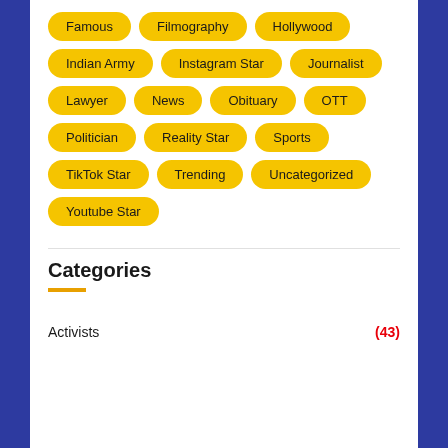Famous
Filmography
Hollywood
Indian Army
Instagram Star
Journalist
Lawyer
News
Obituary
OTT
Politician
Reality Star
Sports
TikTok Star
Trending
Uncategorized
Youtube Star
Categories
Activists (43)